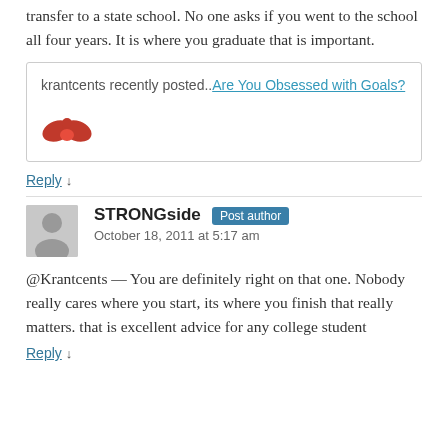transfer to a state school. No one asks if you went to the school all four years. It is where you graduate that is important.
krantcents recently posted..Are You Obsessed with Goals?
Reply ↓
STRONGside Post author
October 18, 2011 at 5:17 am
@Krantcents — You are definitely right on that one. Nobody really cares where you start, its where you finish that really matters. that is excellent advice for any college student
Reply ↓